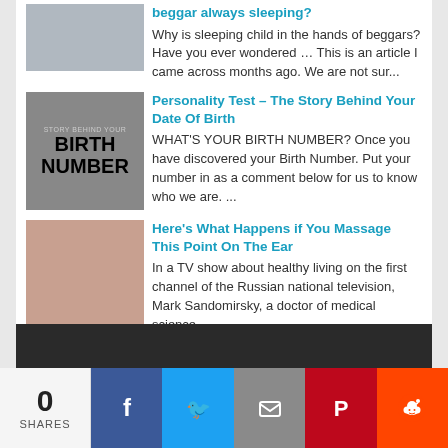beggar always sleeping? Why is sleeping child in the hands of beggars? Have you ever wondered … This is an article I came across months ago. We are not sur...
Personality Test – The Story Behind Your Date Of Birth. WHAT'S YOUR BIRTH NUMBER? Once you have discovered your Birth Number. Put your number in as a comment below for us to know who we are. ...
Here's What Happens if You Massage This Point On The Ear. In a TV show about healthy living on the first channel of the Russian national television, Mark Sandomirsky, a doctor of medical science...
0 SHARES
f
t
✉
P
reddit